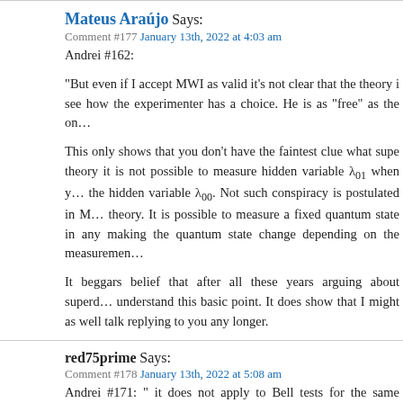Mateus Araújo Says:
Comment #177 January 13th, 2022 at 4:03 am
Andrei #162:
“But even if I accept MWI as valid it’s not clear that the theory i see how the experimenter has a choice. He is as “free” as the on…
This only shows that you don’t have the faintest clue what supe theory it is not possible to measure hidden variable λ₀₁ when y… the hidden variable λ₀₀. Not such conspiracy is postulated in M… theory. It is possible to measure a fixed quantum state in any making the quantum state change depending on the measuremen…
It beggars belief that after all these years arguing about superd… understand this basic point. It does show that I might as well talk replying to you any longer.
red75prime Says:
Comment #178 January 13th, 2022 at 5:08 am
Andrei #171: " it does not apply to Bell tests for the same reason or orbiting stars"